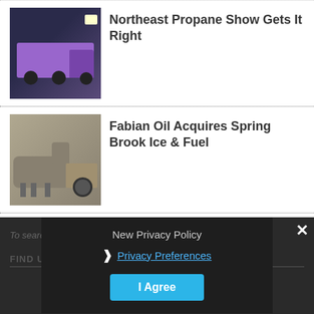Northeast Propane Show Gets It Right
Fabian Oil Acquires Spring Brook Ice & Fuel
Welcome to the No-Margin-for-Error Zone
CEMA Adds to Lobbying Team
New Privacy Policy
Privacy Preferences
I Agree
To search type and hit enter
FIND US ON FACEBOOK